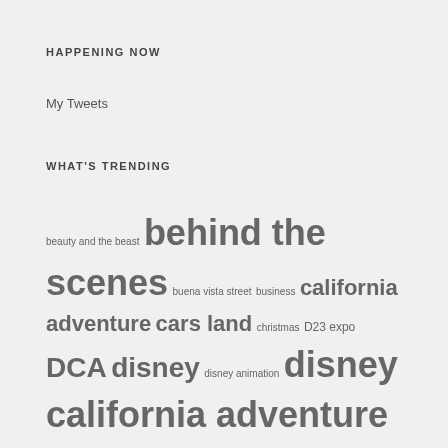HAPPENING NOW
My Tweets
WHAT'S TRENDING
beauty and the beast behind the scenes buena vista street business california adventure cars land christmas D23 expo DCA disney disney animation disney california adventure disney channel disney consumer products disneyexaminer disney interactive disneyland disneyland resort disney movie disney parks disney parks and resorts downtown disney exclusive food frozen FYI lucasfilm main street USA marvel marvel studios movie review new pixar review spoiler free star wars technology the force awakens walt disney walt disney animation studios walt disney company walt disney imagineering walt disney parks and resorts